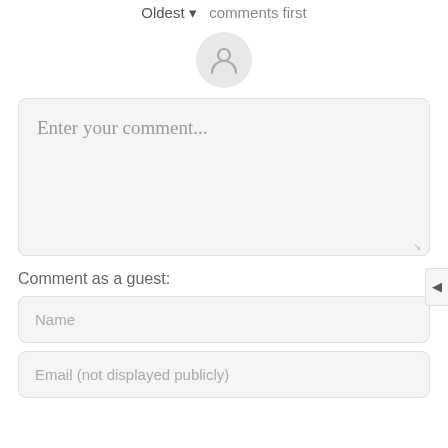Oldest ▾  comments first
[Figure (illustration): User avatar placeholder circle with person icon]
Enter your comment...
Comment as a guest:
Name
Email (not displayed publicly)